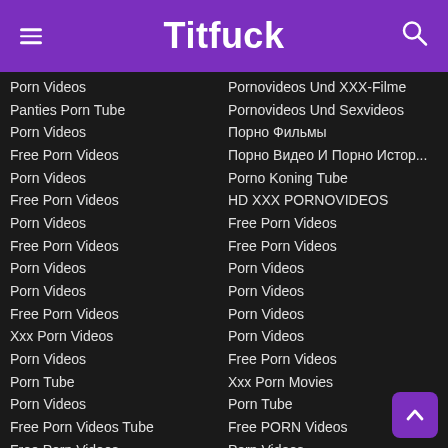Titfuck
Porn Videos
Panties Porn Tube
Porn Videos
Free Porn Videos
Porn Videos
Free Porn Videos
Porn Videos
Free Porn Videos
Porn Videos
Porn Videos
Free Porn Videos
Xxx Porn Videos
Porn Videos
Porn Tube
Porn Videos
Free Porn Videos Tube
Free Porn Videos
Porn Videos Tube
Porn Videos
Porn & Xxx
Pornovideos Und XXX-Filme
Pornovideos Und Sexvideos
Порно Фильмы
Порно Видео И Порно Истор...
Porno Koning Tube
HD XXX PORNOVIDEOS
Free Porn Videos
Free Porn Videos
Porn Videos
Porn Videos
Porn Videos
Porn Videos
Free Porn Videos
Xxx Porn Movies
Porn Tube
Free PORN Videos
Porn Videos
Free Porn Videos
Xxx Porn Videos
We Love Porn